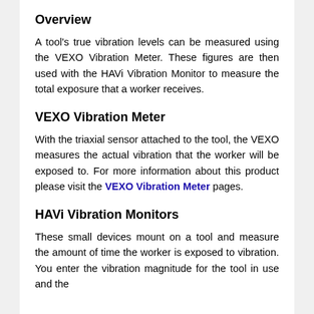Overview
A tool's true vibration levels can be measured using the VEXO Vibration Meter. These figures are then used with the HAVi Vibration Monitor to measure the total exposure that a worker receives.
VEXO Vibration Meter
With the triaxial sensor attached to the tool, the VEXO measures the actual vibration that the worker will be exposed to. For more information about this product please visit the VEXO Vibration Meter pages.
HAVi Vibration Monitors
These small devices mount on a tool and measure the amount of time the worker is exposed to vibration. You enter the vibration magnitude for the tool in use and the